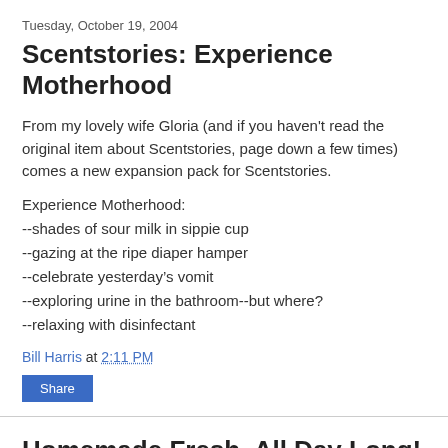Tuesday, October 19, 2004
Scentstories: Experience Motherhood
From my lovely wife Gloria (and if you haven't read the original item about Scentstories, page down a few times) comes a new expansion pack for Scentstories.
Experience Motherhood:
--shades of sour milk in sippie cup
--gazing at the ripe diaper hamper
--celebrate yesterday’s vomit
--exploring urine in the bathroom--but where?
--relaxing with disinfectant
Bill Harris at 2:11 PM
Share
Homemade Fresh, All Day Long!